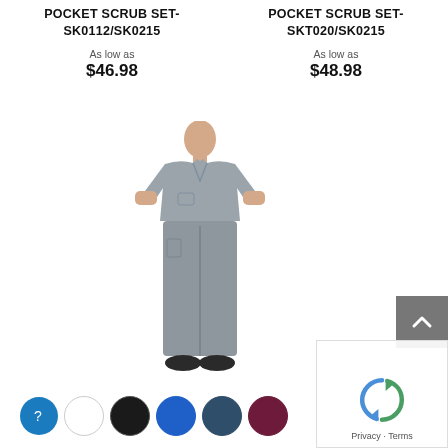POCKET SCRUB SET- SK0112/SK0215
As low as $46.98
POCKET SCRUB SET- SKT020/SK0215
As low as $48.98
[Figure (photo): Man wearing grey scrub set (top and pants), hands in pockets, standing facing forward]
[Figure (other): Color swatches: question mark (blue), white, black, blue, dark teal, dark maroon/burgundy]